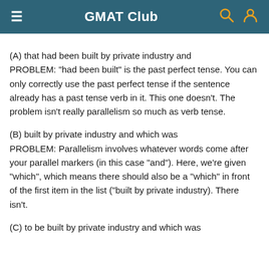GMAT Club
(A) that had been built by private industry and
PROBLEM: "had been built" is the past perfect tense. You can only correctly use the past perfect tense if the sentence already has a past tense verb in it. This one doesn't. The problem isn't really parallelism so much as verb tense.
(B) built by private industry and which was
PROBLEM: Parallelism involves whatever words come after your parallel markers (in this case "and"). Here, we're given "which", which means there should also be a "which" in front of the first item in the list ("built by private industry). There isn't.
(C) to be built by private industry and which was